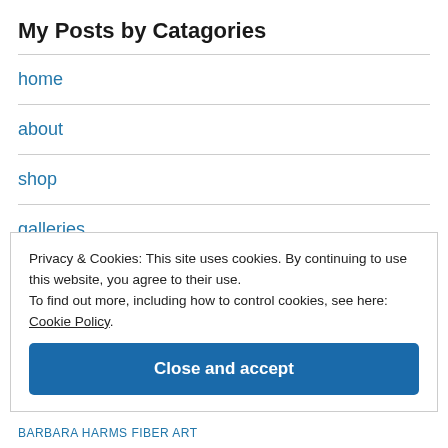My Posts by Catagories
home
about
shop
galleries
Privacy & Cookies: This site uses cookies. By continuing to use this website, you agree to their use.
To find out more, including how to control cookies, see here: Cookie Policy
Close and accept
BARBARA HARMS FIBER ART